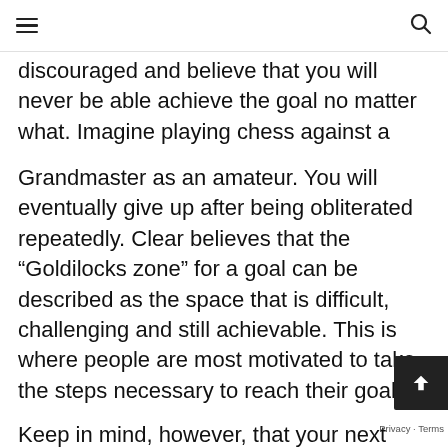[hamburger menu] [search icon]
discouraged and believe that you will never be able achieve the goal no matter what. Imagine playing chess against a
Grandmaster as an amateur. You will eventually give up after being obliterated repeatedly. Clear believes that the “Goldilocks zone” for a goal can be described as the space that is difficult, challenging and still achievable. This is where people are most motivated to take the steps necessary to reach their goals.
Keep in mind, however, that your next goal